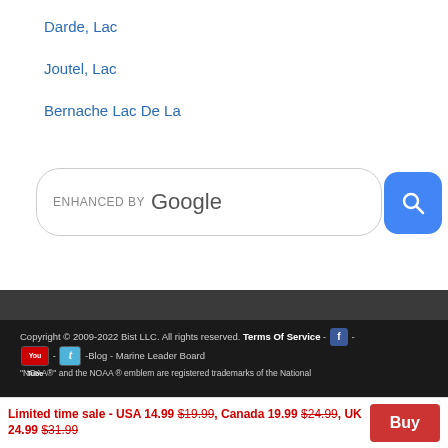Darde, Lac
Joutel, Lac
Bernache Lac De La
[Figure (screenshot): Google search bar with 'ENHANCED BY Google' label and blue search button]
Copyright © 2009-2022 Bist LLC. All rights reserved. Terms Of Service - [Facebook icon] - [YouTube icon] - [Twitter icon] -Blog - Marine Leader Board
"NOAA®" and the NOAA ® emblem are registered trademarks of the National
Limited time sale - USA 14.99 $19.99, Canada 19.99 $24.99, UK 24.99 $31.99